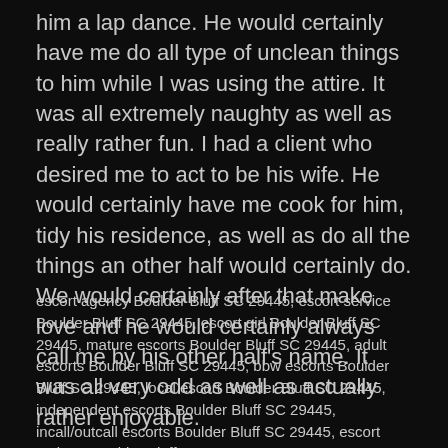him a lap dance. He would certainly have me do all type of unclean things to him while I was using the attire. It was all extremely naughty as well as really rather fun. I had a client who desired me to act to be his wife. He would certainly have me cook for him, tidy his residence, as well as do all the things an other half would certainly do. We would certainly after that make love and he would certainly always call me by his other half's name. It was all very odd as well as actually rather enjoyable.
escort agency Boulder Bluff SC 29445, escort service Boulder Bluff SC 29445, escort girl Boulder Bluff SC 29445, mature escorts Boulder Bluff SC 29445, adult escorts Boulder Bluff SC 29445, bbw escorts Boulder Bluff SC 29445, local escort Boulder Bluff SC 29445, independent escorts Boulder Bluff SC 29445, incall/outcall escorts Boulder Bluff SC 29445, escort reviews Boulder Bluff SC 29445